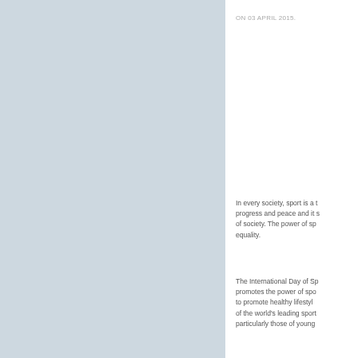[Figure (photo): Light blue/grey textured background panel occupying the left side of the page]
ON 03 APRIL 2015.
In every society, sport is a tool for progress and peace and it spans all of society. The power of sport promotes equality.
The International Day of Sport promotes the power of sport to promote healthy lifestyles of the world's leading sport particularly those of young